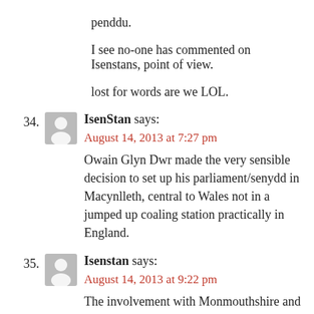penddu.
I see no-one has commented on Isenstans, point of view.
lost for words are we LOL.
34. IsenStan says:
August 14, 2013 at 7:27 pm
Owain Glyn Dwr made the very sensible decision to set up his parliament/senydd in Macynlleth, central to Wales not in a jumped up coaling station practically in England.
35. Isenstan says:
August 14, 2013 at 9:22 pm
The involvement with Monmouthshire and standing